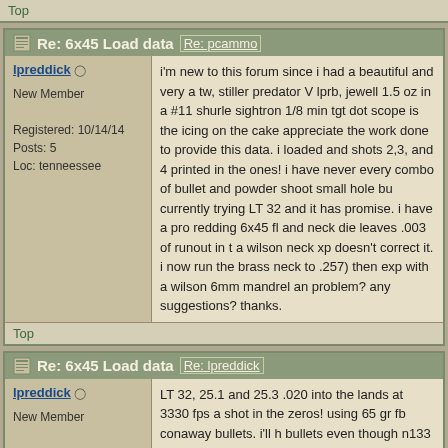Top
Re: 6x45 Load data [Re: pcammo]
lpreddick
New Member
Registered: 10/14/14
Posts: 5
Loc: tenneessee
i'm new to this forum since i had a beautiful and very a tw, stiller predator V lprb, jewell 1.5 oz in a #11 shurle sightron 1/8 min tgt dot scope is the icing on the cake appreciate the work done to provide this data. i loaded and shots 2,3, and 4 printed in the ones! i have never every combo of bullet and powder shoot small hole bu currently trying LT 32 and it has promise. i have a pro redding 6x45 fl and neck die leaves .003 of runout in t a wilson neck xp doesn't correct it. i now run the brass neck to .257) then exp with a wilson 6mm mandrel an problem? any suggestions? thanks.
Top
Re: 6x45 Load data [Re: lpreddick]
lpreddick
New Member
Registered: 10/14/14
Posts: 5
Loc: tenneessee
LT 32, 25.1 and 25.3 .020 into the lands at 3330 fps a shot in the zeros! using 65 gr fb conaway bullets. i'll h bullets even though n133 works very well also.
Top
Re: 6x45 Load data [Re: pcammo]
lpreddick
New Member
Would like a little more speed with the very accurate 6 increased my 223 performance. Has anybody any exp